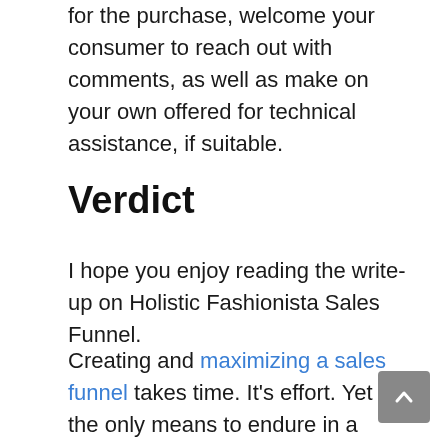for the purchase, welcome your consumer to reach out with comments, as well as make on your own offered for technical assistance, if suitable.
Verdict
I hope you enjoy reading the write-up on Holistic Fashionista Sales Funnel.
Creating and maximizing a sales funnel takes time. It's effort. Yet it's the only means to endure in a competitive market.